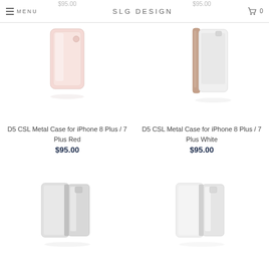MENU | SLG DESIGN | 0
[Figure (photo): D5 CSL Metal Case for iPhone 8 Plus / 7 Plus Red - pink/rose colored phone case]
D5 CSL Metal Case for iPhone 8 Plus / 7 Plus Red
$95.00
[Figure (photo): D5 CSL Metal Case for iPhone 8 Plus / 7 Plus White - white phone case with rose gold trim]
D5 CSL Metal Case for iPhone 8 Plus / 7 Plus White
$95.00
[Figure (photo): Silver/grey phone case product image bottom left]
[Figure (photo): Silver/grey phone case product image bottom right]